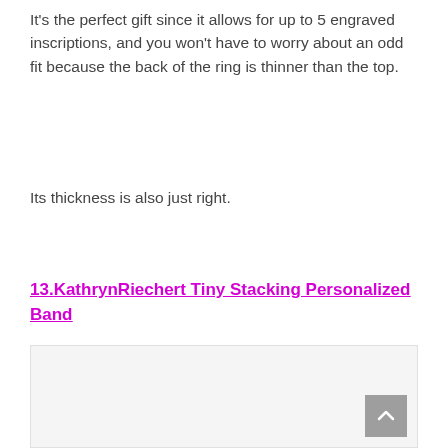It's the perfect gift since it allows for up to 5 engraved inscriptions, and you won't have to worry about an odd fit because the back of the ring is thinner than the top.
Its thickness is also just right.
13. KathrynRiechert Tiny Stacking Personalized Band
[Figure (photo): Product image placeholder box with scroll-to-top button]